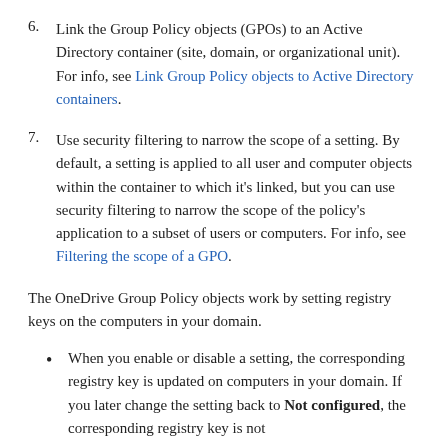6. Link the Group Policy objects (GPOs) to an Active Directory container (site, domain, or organizational unit). For info, see Link Group Policy objects to Active Directory containers.
7. Use security filtering to narrow the scope of a setting. By default, a setting is applied to all user and computer objects within the container to which it's linked, but you can use security filtering to narrow the scope of the policy's application to a subset of users or computers. For info, see Filtering the scope of a GPO.
The OneDrive Group Policy objects work by setting registry keys on the computers in your domain.
When you enable or disable a setting, the corresponding registry key is updated on computers in your domain. If you later change the setting back to Not configured, the corresponding registry key is not